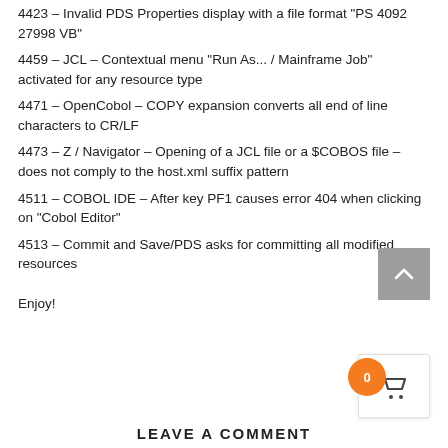4423 – Invalid PDS Properties display with a file format "PS 4092 27998 VB"
4459 – JCL – Contextual menu "Run As... / Mainframe Job" activated for any resource type
4471 – OpenCobol – COPY expansion converts all end of line characters to CR/LF
4473 – Z / Navigator – Opening of a JCL file or a $COBOS file – does not comply to the host.xml suffix pattern
4511 – COBOL IDE – After key PF1 causes error 404 when clicking on "Cobol Editor"
4513 – Commit and Save/PDS asks for committing all modified resources
Enjoy!
LEAVE A COMMENT